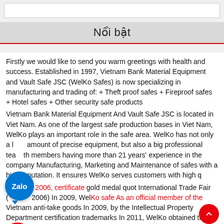Nổi bật
Firstly we would like to send you warm greetings with health and success. Established in 1997, Vietnam Bank Material Equipment and Vault Safe JSC (WelKo Safes) is now specializing in manufacturing and trading of: + Theft proof safes + Fireproof safes + Hotel safes + Other security safe products
Vietnam Bank Material Equipment And Vault Safe JSC is located in Viet Nam. As one of the largest safe production bases in Viet Nam, WelKo plays an important role in the safe area. WelKo has not only a large amount of precise equipment, but also a big professional team with members having more than 21 years' experience in the company Manufacturing, Marketing and Maintenance of safes with a high reputation. It ensures WelKo serves customers with high quality... In 2006, certificate gold medal quot International Trade Fair (... 2006) In 2009, WelKo safe As an official member of the Vietnam anti-take goods In 2009, by the Intellectual Property Department certification trademarks In 2011, WelKo obtained the certificates of Quacer ISO9001. In 2008, WelKo was awarded "A